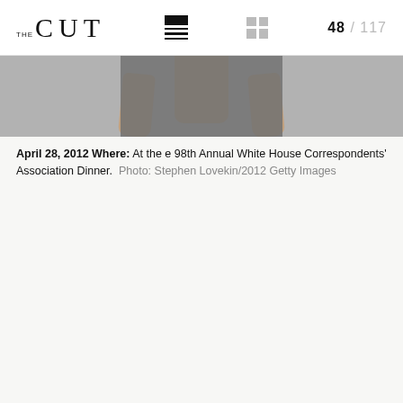THE CUT  48 / 117
[Figure (photo): Partial view of a person wearing a dark dress, showing neck, arms, and upper torso against a grey background.]
April 28, 2012 Where: At the e 98th Annual White House Correspondents' Association Dinner. Photo: Stephen Lovekin/2012 Getty Images